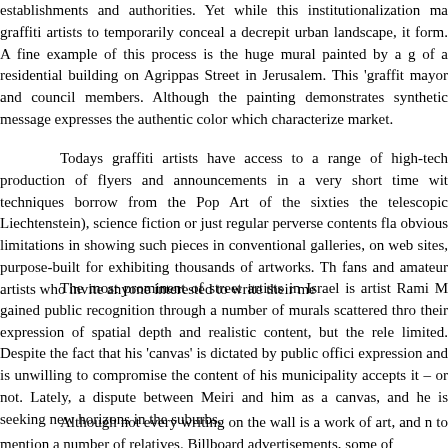establishments and authorities. Yet while this institutionalization ma graffiti artists to temporarily conceal a decrepit urban landscape, it form. A fine example of this process is the huge mural painted by a g of a residential building on Agrippas Street in Jerusalem. This 'graffit mayor and council members. Although the painting demonstrates synthetic message expresses the authentic color which characterize market.
Todays graffiti artists have access to a range of high-tech production of flyers and announcements in a very short time wit techniques borrow from the Pop Art of the sixties the telescopic Liechtenstein), science fiction or just regular perverse contents fla obvious limitations in showing such pieces in conventional galleries, on web sites, purpose-built for exhibiting thousands of artworks. Th fans and amateur artists who invite anyone interested to write their me
The most prominent of street artists in Israel is artist Rami M gained public recognition through a number of murals scattered thro their expression of spatial depth and realistic content, but the rele limited. Despite the fact that his 'canvas' is dictated by public offici expression and is unwilling to compromise the content of his municipality accepts it – or not. Lately, a dispute between Meiri and him as a canvas, and he is seeking new horizons in the suburbs.
Although not every writing on the wall is a work of art, and n to mention a number of relatives. Billboard advertisements, some of